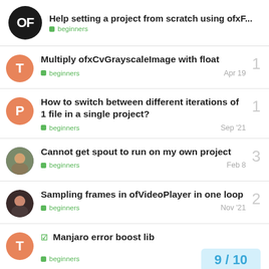Help setting a project from scratch using ofxF... | beginners
Multiply ofxCvGrayscaleImage with float | beginners | Apr 19 | 1 reply
How to switch between different iterations of 1 file in a single project? | beginners | Sep '21 | 1 reply
Cannot get spout to run on my own project | beginners | Feb 8 | 3 replies
Sampling frames in ofVideoPlayer in one loop | beginners | Nov '21 | 2 replies
✓ Manjaro error boost lib | beginners | 9/10